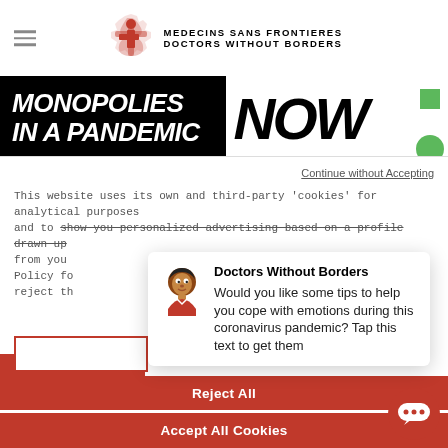[Figure (logo): Médecins Sans Frontières / Doctors Without Borders logo with red cross and text]
[Figure (screenshot): Banner image showing text 'MONOPOLIES IN A PANDEMIC' on black background and 'NOW' on white background with green shapes]
Continue without Accepting
This website uses its own and third-party 'cookies' for analytical purposes and to show you personalized advertising based on a profile drawn up from you... Policy fo... reject th...
[Figure (screenshot): Chat popup from Doctors Without Borders with avatar emoji and message: Would you like some tips to help you cope with emotions during this coronavirus pandemic? Tap this text to get them]
Doctors Without Borders
Would you like some tips to help you cope with emotions during this coronavirus pandemic? Tap this text to get them
Reject All
Accept All Cookies